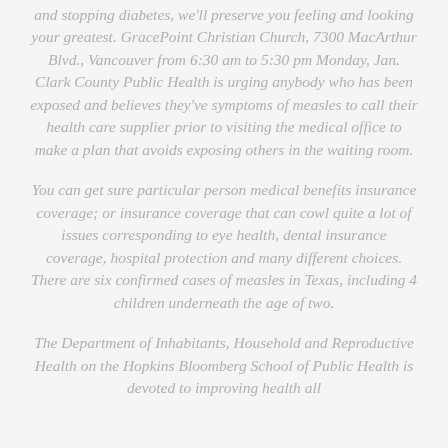and stopping diabetes, we'll preserve you feeling and looking your greatest. GracePoint Christian Church, 7300 MacArthur Blvd., Vancouver from 6:30 am to 5:30 pm Monday, Jan. Clark County Public Health is urging anybody who has been exposed and believes they've symptoms of measles to call their health care supplier prior to visiting the medical office to make a plan that avoids exposing others in the waiting room.
You can get sure particular person medical benefits insurance coverage; or insurance coverage that can cowl quite a lot of issues corresponding to eye health, dental insurance coverage, hospital protection and many different choices. There are six confirmed cases of measles in Texas, including 4 children underneath the age of two.
The Department of Inhabitants, Household and Reproductive Health on the Hopkins Bloomberg School of Public Health is devoted to improving health all